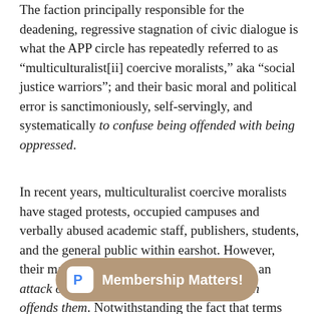The faction principally responsible for the deadening, regressive stagnation of civic dialogue is what the APP circle has repeatedly referred to as “multiculturalist[ii] coercive moralists,” aka “social justice warriors”; and their basic moral and political error is sanctimoniously, self-servingly, and systematically to confuse being offended with being oppressed.
In recent years, multiculturalist coercive moralists have staged protests, occupied campuses and verbally abused academic staff, publishers, students, and the general public within earshot. However, their main ideology can be best described as an attack on dissent, the very existence of which offends them. Notwithstanding the fact that terms like “multiculturalis…” “under-representation,” or… age, what we can actually observe is the formation of a simple